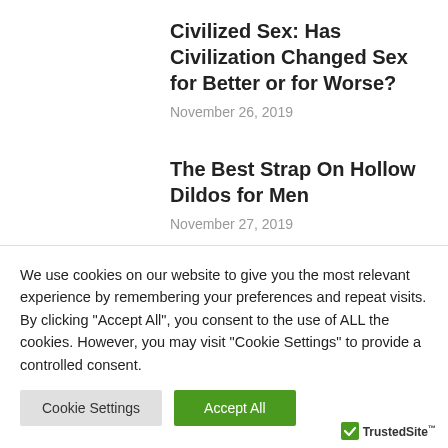Civilized Sex: Has Civilization Changed Sex for Better or for Worse?
November 26, 2019
The Best Strap On Hollow Dildos for Men
November 27, 2019
Men should ejaculate as frequently
We use cookies on our website to give you the most relevant experience by remembering your preferences and repeat visits. By clicking "Accept All", you consent to the use of ALL the cookies. However, you may visit "Cookie Settings" to provide a controlled consent.